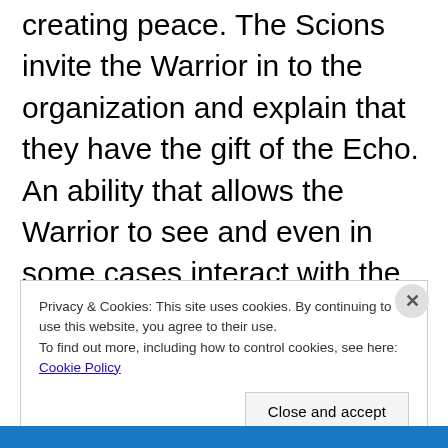creating peace.  The Scions invite the Warrior in to the organization and explain that they have the gift of the Echo.  An ability that allows the Warrior to see and even in some cases interact with the past and to know the hearts of others.  It also renders them immune to the brainwashing enslavement that Primals use called ‘Tempering’.  Because of this gift, the Scions send you to help track down and ultimately defeat the Primal Ifrit.
Privacy & Cookies: This site uses cookies. By continuing to use this website, you agree to their use.
To find out more, including how to control cookies, see here: Cookie Policy
Close and accept